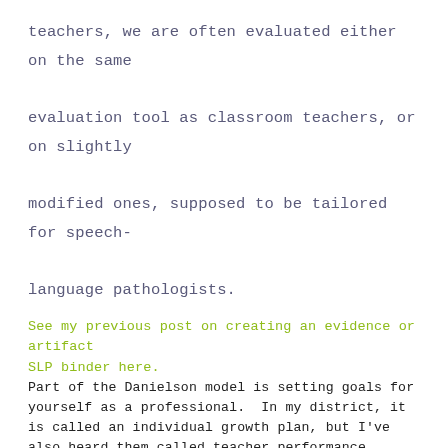teachers, we are often evaluated either on the same evaluation tool as classroom teachers, or on slightly modified ones, supposed to be tailored for speech-language pathologists.
See my previous post on creating an evidence or artifact SLP binder here.
Part of the Danielson model is setting goals for yourself as a professional.  In my district, it is called an individual growth plan, but I've also heard them called teacher performance goals.
How in the world do you decide what sort of goal to write for yourself, though?  Sure, we write individual goals for students all the time, but it's certainly challenging to come up with one for yourself!
My advice is to take a step back, and think about yourself as an SLP.  What is an area of practice you would like to improve on?  Do you have lots of students this year with disorders you are not as familiar with?  Do you need to improve on regular parent communication?  Do you need to work on your organization?  Does your behavior management system need some work?  Would you like to